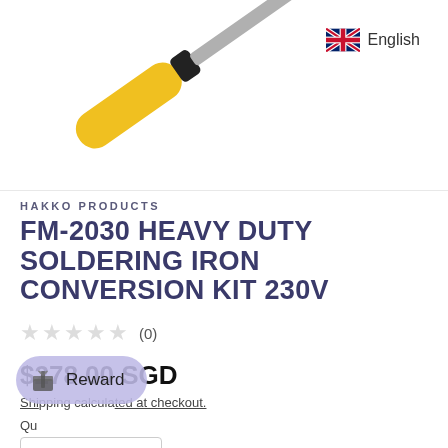[Figure (photo): Soldering iron with yellow handle and metal tip, shown diagonally on white background]
English
HAKKO PRODUCTS
FM-2030 HEAVY DUTY SOLDERING IRON CONVERSION KIT 230V
★★★★★ (0)
$278.00 SGD
Shipping calculated at checkout.
Quantity
[Figure (other): Reward button overlay with gift icon]